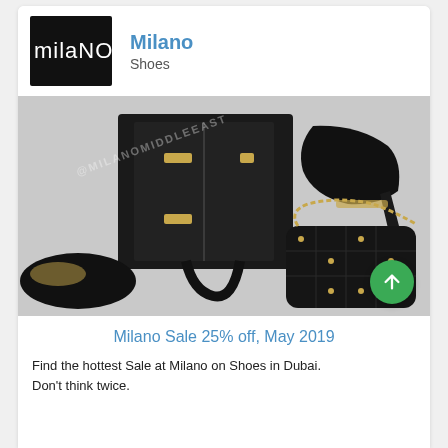[Figure (logo): Milano brand logo: white text 'milano' on black background square]
Milano
Shoes
[Figure (photo): Photo of Milano shoes and bags: black structured handbag, slingback stiletto heels with gold studs, quilted black crossbody bag with gold butterfly studs and chain strap, black flat shoes with gold detail, on grey background. Watermark @MILANOMIDDLEEAST]
Milano Sale 25% off, May 2019
Find the hottest Sale at Milano on Shoes in Dubai. Don't think twice.